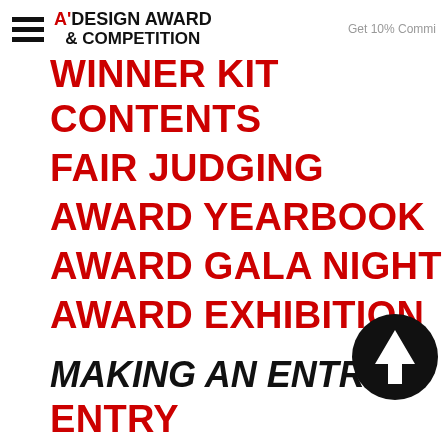A'DESIGN AWARD & COMPETITION — Get 10% Commi...
WINNER KIT CONTENTS
FAIR JUDGING
AWARD YEARBOOK
AWARD GALA NIGHT
AWARD EXHIBITION
MAKING AN ENTRY
ENTRY INSTRUCTIONS
REGISTRATION
[Figure (illustration): Black circle with white upward arrow icon (scroll-to-top button)]